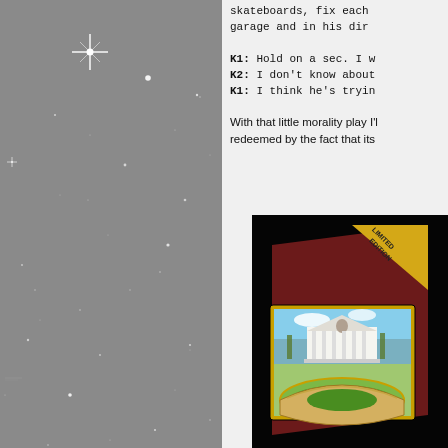[Figure (photo): Starfield / night sky with white sparkle stars on gray background]
skateboards, fix each other in his garage and in his dir
K1: Hold on a sec. I w
K2: I don't know about
K1: I think he's tryin
With that little morality play I'l redeemed by the fact that its
[Figure (photo): Photo of a 'Limited Edition' package/box with images of a classical building with columns and a stadium/arena on the front, set against a black background]